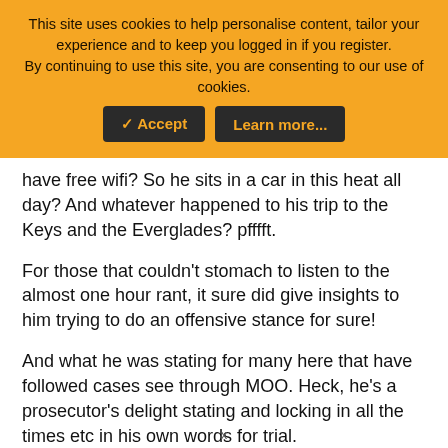This site uses cookies to help personalise content, tailor your experience and to keep you logged in if you register.
By continuing to use this site, you are consenting to our use of cookies.
[Accept] [Learn more...]
have free wifi? So he sits in a car in this heat all day? And whatever happened to his trip to the Keys and the Everglades? pfffft.
For those that couldn't stomach to listen to the almost one hour rant, it sure did give insights to him trying to do an offensive stance for sure!
And what he was stating for many here that have followed cases see through MOO. Heck, he's a prosecutor's delight stating and locking in all the times etc in his own words for trial.